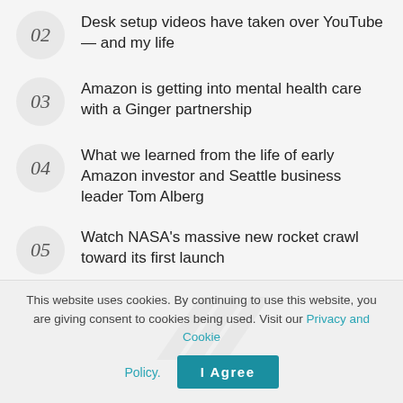02 Desk setup videos have taken over YouTube — and my life
03 Amazon is getting into mental health care with a Ginger partnership
04 What we learned from the life of early Amazon investor and Seattle business leader Tom Alberg
05 Watch NASA's massive new rocket crawl toward its first launch
[Figure (logo): Adidas three-stripe logo, partially visible at the bottom of the content area]
This website uses cookies. By continuing to use this website, you are giving consent to cookies being used. Visit our Privacy and Cookie Policy.